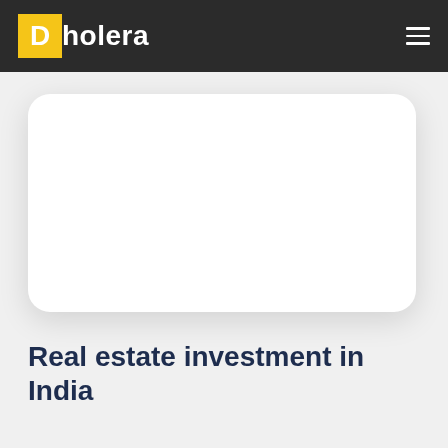Dholera
[Figure (photo): White rounded card/image placeholder area on a light gray background]
Real estate investment in India